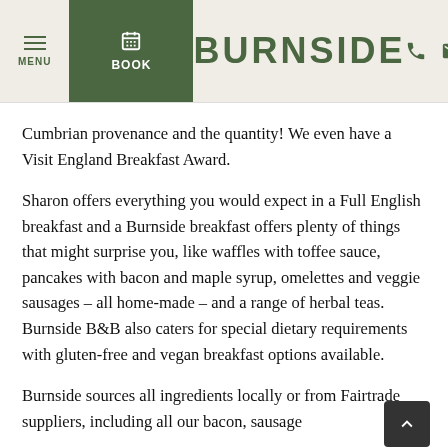BURNSIDE — MENU | BOOK | phone | email
Cumbrian provenance and the quantity! We even have a Visit England Breakfast Award.
Sharon offers everything you would expect in a Full English breakfast and a Burnside breakfast offers plenty of things that might surprise you, like waffles with toffee sauce, pancakes with bacon and maple syrup, omelettes and veggie sausages – all home-made – and a range of herbal teas. Burnside B&B also caters for special dietary requirements with gluten-free and vegan breakfast options available.
Burnside sources all ingredients locally or from Fairtrade suppliers, including all our bacon, sausage